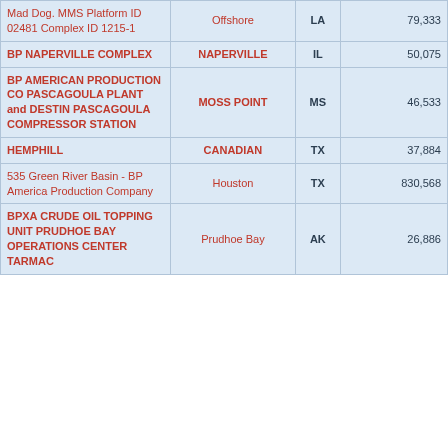| Facility Name | City | State | Value |
| --- | --- | --- | --- |
| Mad Dog. MMS Platform ID 02481 Complex ID 1215-1 | Offshore | LA | 79,333 |
| BP NAPERVILLE COMPLEX | NAPERVILLE | IL | 50,075 |
| BP AMERICAN PRODUCTION CO PASCAGOULA PLANT and DESTIN PASCAGOULA COMPRESSOR STATION | MOSS POINT | MS | 46,533 |
| HEMPHILL | CANADIAN | TX | 37,884 |
| 535 Green River Basin - BP America Production Company | Houston | TX | 830,568 |
| BPXA CRUDE OIL TOPPING UNIT PRUDHOE BAY OPERATIONS CENTER TARMAC | Prudhoe Bay | AK | 26,886 |